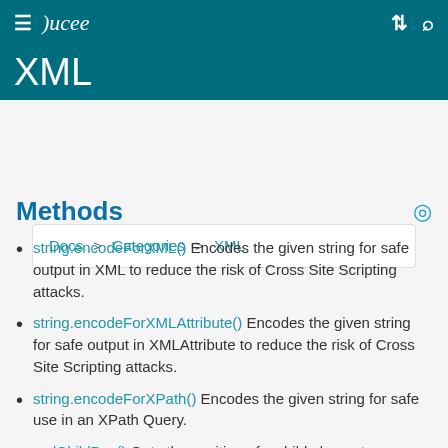Lucee — XML
XML
Docs > Categories > XML
Methods
string.encodeForXML() Encodes the given string for safe output in XML to reduce the risk of Cross Site Scripting attacks.
string.encodeForXMLAttribute() Encodes the given string for safe output in XMLAttribute to reduce the risk of Cross Site Scripting attacks.
string.encodeForXPath() Encodes the given string for safe use in an XPath Query.
xmlChildPos() Gets the position of a child element